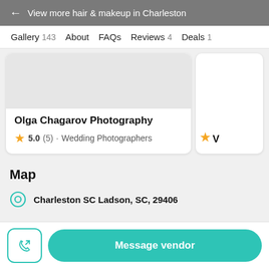← View more hair & makeup in Charleston
Gallery 143   About   FAQs   Reviews 4   Deals 1
Olga Chagarov Photography
★ 5.0 (5) · Wedding Photographers
Map
Charleston SC Ladson, SC, 29406
Message vendor